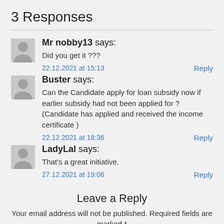3 Responses
Mr nobby13 says:
Did you get it ???
22.12.2021 at 15:13   Reply
Buster says:
Can the Candidate apply for loan subsidy now if earlier subsidy had not been applied for ? (Candidate has applied and received the income certificate )
22.12.2021 at 18:36   Reply
LadyLal says:
That's a great initiative.
27.12.2021 at 19:06   Reply
Leave a Reply
Your email address will not be published. Required fields are marked *